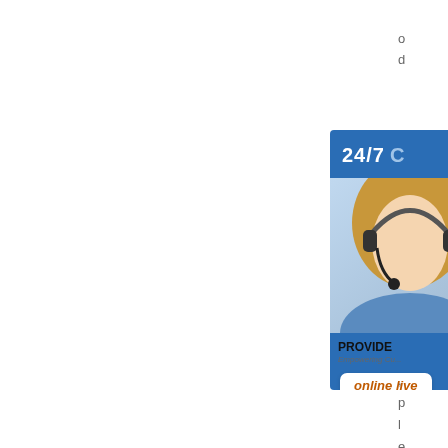[Figure (illustration): Customer support illustration: a banner showing a woman with a headset, '24/7' text, 'PROVIDE' and 'Empowering Customers' text, 'online live' badge, and three blue icon boxes (headset/person icon, phone icon, Skype-style S icon) overlapping the banner on the right side.]
o d d , p l e a s